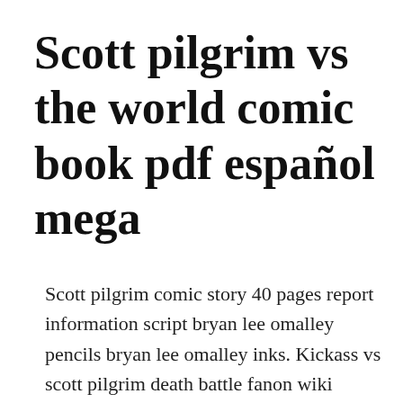Scott pilgrim vs the world comic book pdf español mega
Scott pilgrim comic story 40 pages report information script bryan lee omalley pencils bryan lee omalley inks. Kickass vs scott pilgrim death battle fanon wiki fandom. Download pdf scott pilgrim free comic book